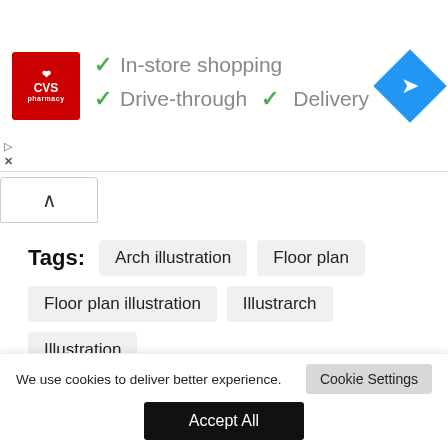[Figure (screenshot): CVS Pharmacy advertisement banner showing In-store shopping, Drive-through, and Delivery checkmarks, with a navigation/directions icon on the right]
[Figure (other): Collapse/chevron up button]
Tags:
Arch illustration
Floor plan
Floor plan illustration
Illustrarch
Illustration
Naina
Palak Gupta
illustrarch
We use cookies to deliver better experience.
Cookie Settings
Accept All